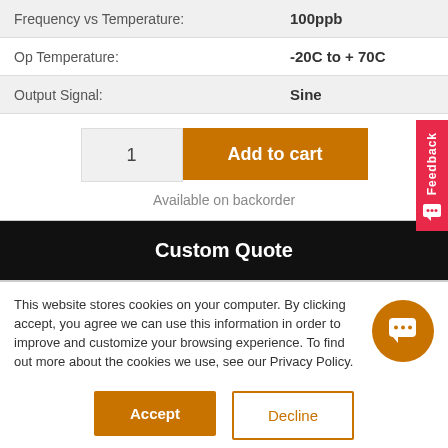| Property | Value |
| --- | --- |
| Frequency vs Temperature: | 100ppb |
| Op Temperature: | -20C to + 70C |
| Output Signal: | Sine |
1
Add to cart
Available on backorder
Custom Quote
Feedback
This website stores cookies on your computer. By clicking accept, you agree we can use this information in order to improve and customize your browsing experience. To find out more about the cookies we use, see our Privacy Policy.
Accept
Decline